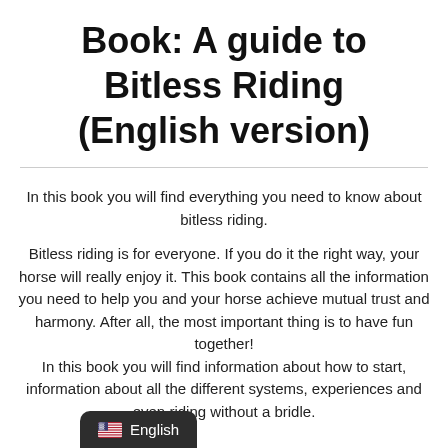Book: A guide to Bitless Riding (English version)
In this book you will find everything you need to know about bitless riding.
Bitless riding is for everyone. If you do it the right way, your horse will really enjoy it. This book contains all the information you need to help you and your horse achieve mutual trust and harmony. After all, the most important thing is to have fun together!
In this book you will find information about how to start, information about all the different systems, experiences and even riding without a bridle.
[Figure (other): English language selector button with US flag icon]